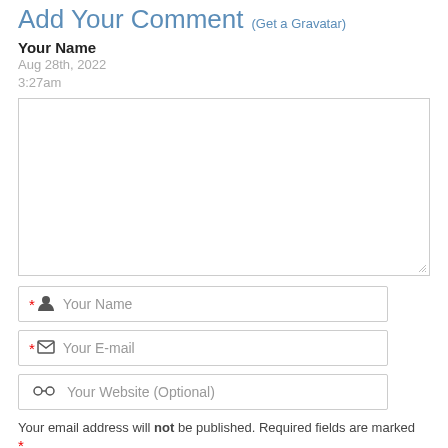Add Your Comment (Get a Gravatar)
Your Name
Aug 28th, 2022
3:27am
[Figure (other): Empty comment textarea with resize handle]
* [person icon] Your Name
* [mail icon] Your E-mail
[link icon] Your Website (Optional)
Your email address will not be published. Required fields are marked *